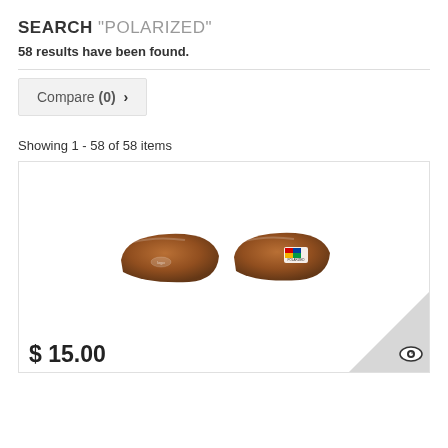SEARCH "POLARIZED"
58 results have been found.
Compare (0) >
Showing 1 - 58 of 58 items
[Figure (photo): Two brown polarized sunglass lenses shown side by side. The left lens has a small logo sticker; the right lens has a colorful polarized label.]
$ 15.00